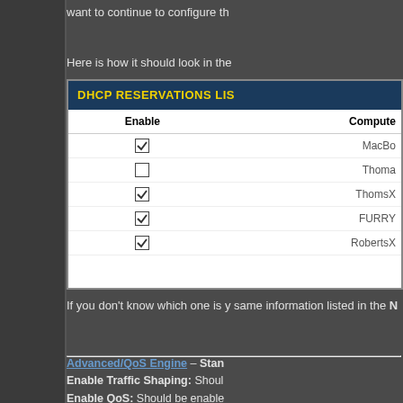want to continue to configure th
Here is how it should look in the
[Figure (screenshot): DHCP Reservations List screenshot showing a table with Enable checkboxes and Computer Name column. Rows: MacBo (checked), Thoma (unchecked), ThomsX (checked), FURRY (checked), RobertsX (checked).]
If you don't know which one is y same information listed in the N
Advanced/QoS Engine – Stan Enable Traffic Shaping: Shoul Enable QoS: Should be enable Automatic Classification: Shc Dynamic Fragmentation: Unc Automatic Uplink Speed: Sho select the preset. Some routers